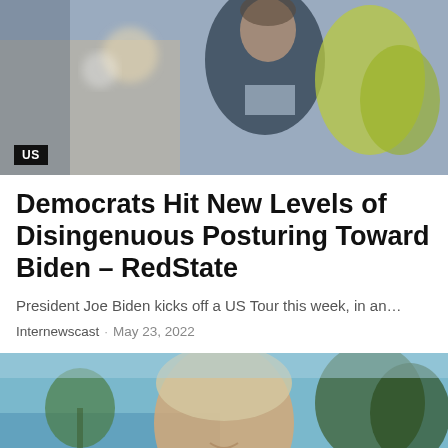[Figure (photo): Blurred photo of a man in a dark suit with a yellow/green tree in the background]
Democrats Hit New Levels of Disingenuous Posturing Toward Biden – RedState
President Joe Biden kicks off a US Tour this week, in an…
Internewscast · May 23, 2022
[Figure (photo): Photo of a woman with light hair smiling, with trees and water in the background]